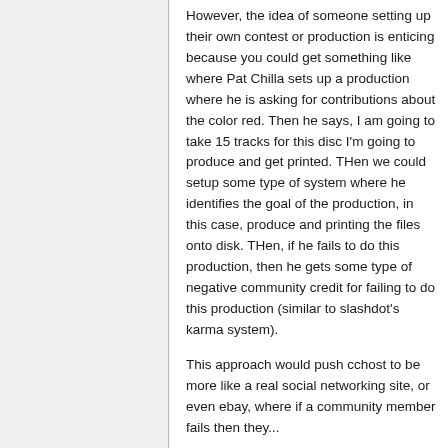However, the idea of someone setting up their own contest or production is enticing because you could get something like where Pat Chilla sets up a production where he is asking for contributions about the color red. Then he says, I am going to take 15 tracks for this disc I'm going to produce and get printed. THen we could setup some type of system where he identifies the goal of the production, in this case, produce and printing the files onto disk. THen, if he fails to do this production, then he gets some type of negative community credit for failing to do this production (similar to slashdot's karma system).
This approach would push cchost to be more like a real social networking site, or even ebay, where if a community member fails then they...